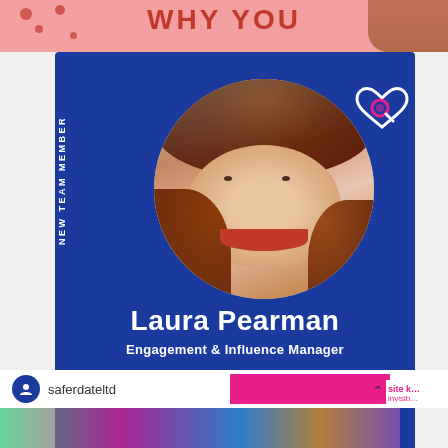[Figure (photo): Top strip showing partial text 'WHY YOU' in red on pink polka dot background with person's hair visible on right]
[Figure (infographic): Blue card with 'NEW TEAM MEMBER' vertical text, circular profile photo of Laura Pearman (woman with red hair smiling), logo icon top right, name and title text below]
Laura Pearman
Engagement & Influence Manager
saferdateltd
[Figure (photo): Bottom strip showing blurred colorful image]